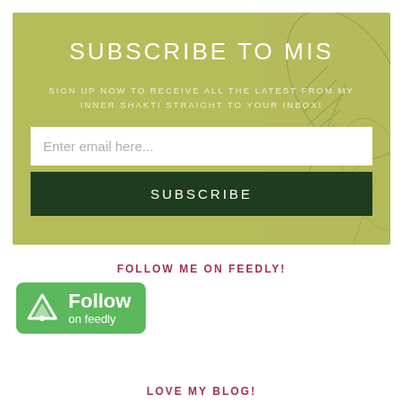SUBSCRIBE TO MIS
SIGN UP NOW TO RECEIVE ALL THE LATEST FROM MY INNER SHAKTI STRAIGHT TO YOUR INBOX!
FOLLOW ME ON FEEDLY!
[Figure (logo): Follow on Feedly green button with Feedly logo]
LOVE MY BLOG!